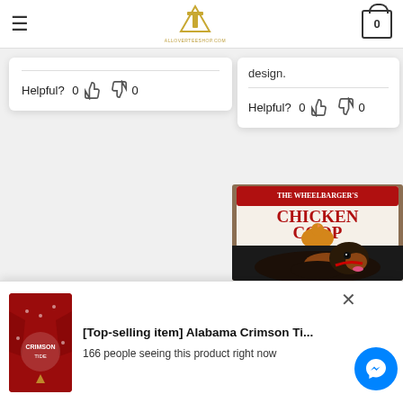Navigation bar with hamburger menu, logo, and cart icon showing 0
design.
Helpful? 0 👍 👎 0
Helpful? 0 👍 👎 0
[Figure (photo): Photo of a dachshund dog in front of a 'The Wheelbarger's Chicken Coop' decorative sign with chickens illustration]
[Figure (photo): Red Christmas ugly sweater with Alabama Crimson Tide design]
[Top-selling item] Alabama Crimson Ti...
166 people seeing this product right now